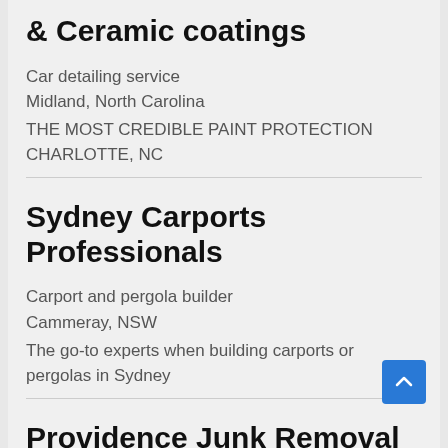& Ceramic coatings
Car detailing service
Midland, North Carolina
THE MOST CREDIBLE PAINT PROTECTION CHARLOTTE, NC
Sydney Carports Professionals
Carport and pergola builder
Cammeray, NSW
The go-to experts when building carports or pergolas in Sydney
Providence Junk Removal
Garbage collection service